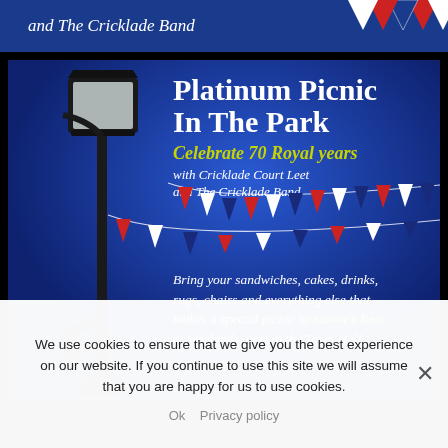[Figure (illustration): Top blue banner strip with italic white text reading 'and The Cricklade Band' with red/white/blue bunting triangles on the right]
[Figure (illustration): Blue poster for 'Platinum Picnic In The Park' featuring a black Victorian lamp post on the left, bold white title text, yellow-green 'Celebrate 70 Royal years' subtitle, white italic text 'with Cricklade Court Leet and The Cricklade Band', red/white/blue bunting across the middle, and italic white text at the bottom about bringing sandwiches to Saxon's Rest at Waylands next to the Town Hall]
We use cookies to ensure that we give you the best experience on our website. If you continue to use this site we will assume that you are happy for us to use cookies.
Ok   Privacy policy